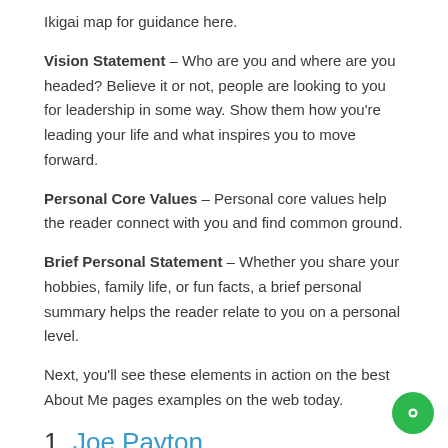Ikigai map for guidance here.
Vision Statement – Who are you and where are you headed? Believe it or not, people are looking to you for leadership in some way. Show them how you're leading your life and what inspires you to move forward.
Personal Core Values – Personal core values help the reader connect with you and find common ground.
Brief Personal Statement – Whether you share your hobbies, family life, or fun facts, a brief personal summary helps the reader relate to you on a personal level.
Next, you'll see these elements in action on the best About Me pages examples on the web today.
1. Joe Payton